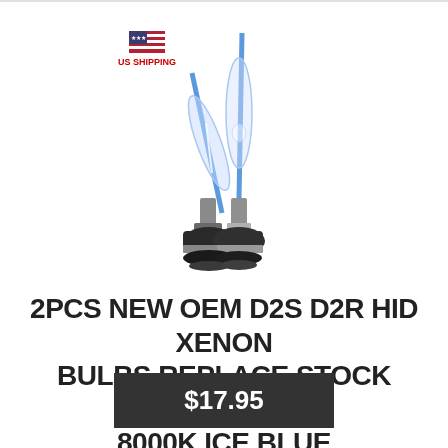[Figure (photo): Two HID xenon headlight bulbs (D2S/D2R type) with blue glass tubes and black bases, with a US flag icon and 'US SHIPPING' text overlay in the upper left area of the image]
2PCS NEW OEM D2S D2R HID XENON BULBS REPLACE STOCK HEADLIGHT 8000K ICE BLUE
$17.95